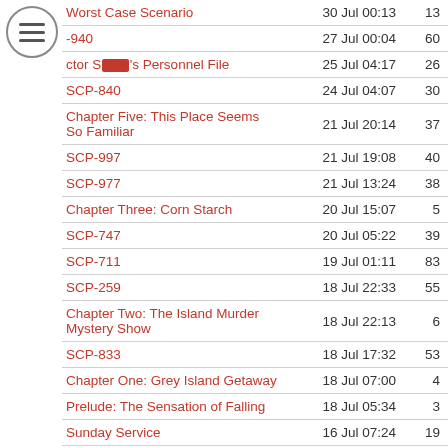| Title | Date | Count |
| --- | --- | --- |
| Worst Case Scenario | 30 Jul 00:13 | 13 |
| -940 | 27 Jul 00:04 | 60 |
| ctor S[REDACTED]'s Personnel File | 25 Jul 04:17 | 26 |
| SCP-840 | 24 Jul 04:07 | 30 |
| Chapter Five: This Place Seems So Familiar | 21 Jul 20:14 | 37 |
| SCP-997 | 21 Jul 19:08 | 40 |
| SCP-977 | 21 Jul 13:24 | 38 |
| Chapter Three: Corn Starch | 20 Jul 15:07 | 5 |
| SCP-747 | 20 Jul 05:22 | 39 |
| SCP-711 | 19 Jul 01:11 | 83 |
| SCP-259 | 18 Jul 22:33 | 55 |
| Chapter Two: The Island Murder Mystery Show | 18 Jul 22:13 | 6 |
| SCP-833 | 18 Jul 17:32 | 53 |
| Chapter One: Grey Island Getaway | 18 Jul 07:00 | 4 |
| Prelude: The Sensation of Falling | 18 Jul 05:34 | 3 |
| Sunday Service | 16 Jul 07:24 | 19 |
| SCP-955 | 13 Jul 01:42 | 67 |
| Pan-Wotcher | 12 Jul 03:55 | 12 |
| SCP-794 | 8 Jul 19:18 | 32 |
| SCP-160 | 8 Jul 17:00 | 38 |
| SCP-178 | 4 Jul 13:37 | 72 |
| File #178-E | 4 Jul 13:37 | 31 |
| Rules of Thumb | 1 Jul 19:12 | 122 |